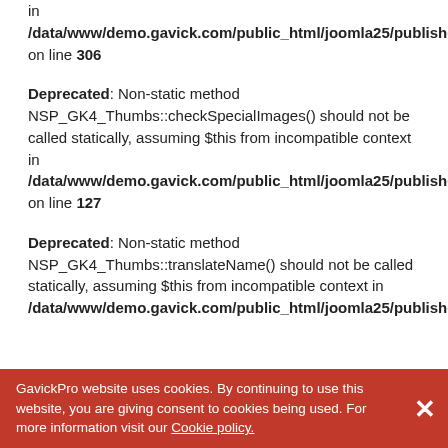in /data/www/demo.gavick.com/public_html/joomla25/publisher/modules/mod_news_pro_gk4/tmpl/layout.parts.php on line 306
Deprecated: Non-static method NSP_GK4_Thumbs::checkSpecialImages() should not be called statically, assuming $this from incompatible context in /data/www/demo.gavick.com/public_html/joomla25/publisher/modules/mod_news_pro_gk4/gk_classes/gk.thumbs.php on line 127
Deprecated: Non-static method NSP_GK4_Thumbs::translateName() should not be called statically, assuming $this from incompatible context in /data/www/demo.gavick.com/public_html/joomla25/publisher/modules/mod_news_pro_gk4/gk_classes/gk.thu
GavickPro website uses cookies. By continuing to use this website, you are giving consent to cookies being used. For more information visit our Cookie policy.